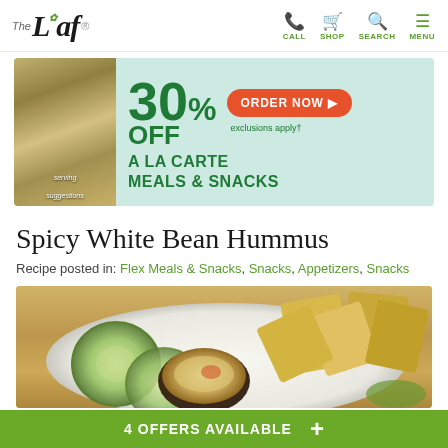[Figure (screenshot): The Leaf website header with logo and navigation icons (CALL, SHOP, SEARCH, MENU) in green]
[Figure (infographic): Advertisement banner: 30% OFF A LA CARTE MEALS & SNACKS with ORDER NOW button and exclusions apply text, teal background with food image on left]
Spicy White Bean Hummus
Recipe posted in: Flex Meals & Snacks, Snacks, Appetizers, Snacks
[Figure (photo): Photo of white bean hummus in a dark bowl with cucumber slices and pita chips on a white plate, wooden background]
4 OFFERS AVAILABLE +